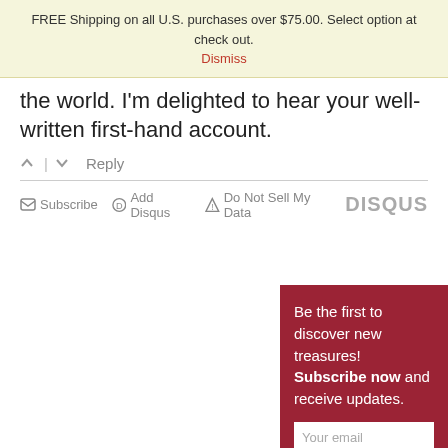FREE Shipping on all U.S. purchases over $75.00. Select option at check out.
Dismiss
the world. I'm delighted to hear your well-written first-hand account.
^ | v  Reply
☑ Subscribe  Ⓓ Add Disqus  ⚠ Do Not Sell My Data   DISQUS
Be the first to discover new treasures! Subscribe now and receive updates.